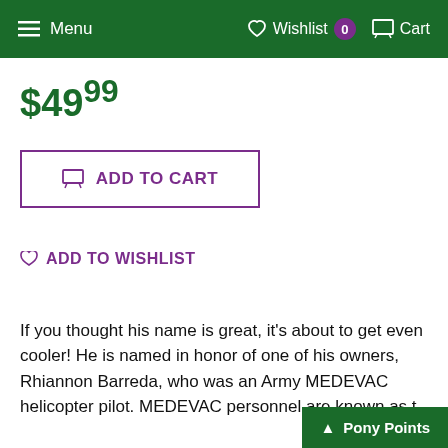Menu  Wishlist 0  Cart
$49.99
ADD TO CART
ADD TO WISHLIST
If you thought his name is great, it’s about to get even cooler!  He is named in honor of one of his owners, Rhiannon Barreda, who was an Army MEDEVAC helicopter pilot.  MEDEVAC personnel are known as t
Pony Points